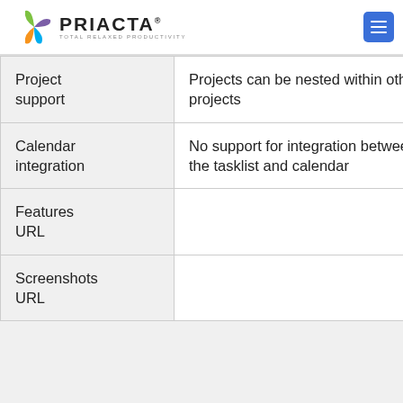PRIACTA — TOTAL RELAXED PRODUCTIVITY
|  | Column 2 | Column 3 |
| --- | --- | --- |
| Project support | Projects can be nested within other projects | Projects can be nested within other projects |
| Calendar integration | No support for integration between the tasklist and calendar | No support for integration between the tasklist and calendar |
| Features URL |  | basket.kde.org/in… |
| Screenshots URL |  |  |